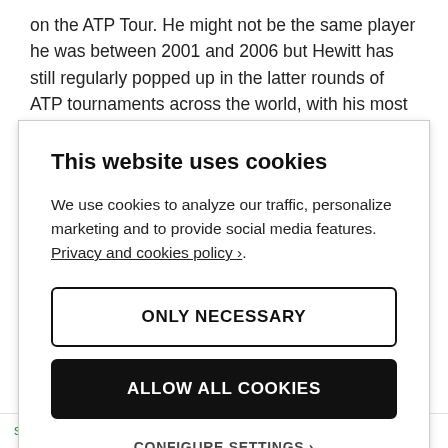on the ATP Tour. He might not be the same player he was between 2001 and 2006 but Hewitt has still regularly popped up in the latter rounds of ATP tournaments across the world, with his most recent titles coming in July of 2014. At 34,
This website uses cookies
We use cookies to analyze our traffic, personalize marketing and to provide social media features. Privacy and cookies policy›.
ONLY NECESSARY
ALLOW ALL COOKIES
CONFIGURE SETTINGS ›
swing a racquet, even if
hating tiger, maybe roger,